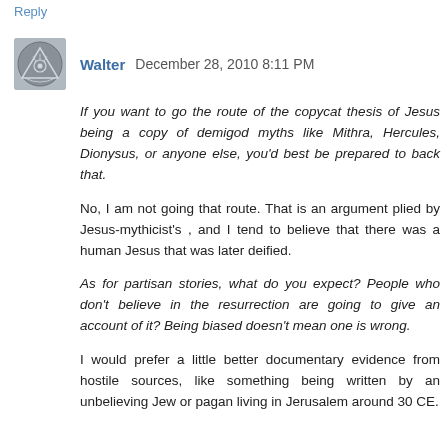Reply
Walter  December 28, 2010 8:11 PM
If you want to go the route of the copycat thesis of Jesus being a copy of demigod myths like Mithra, Hercules, Dionysus, or anyone else, you'd best be prepared to back that.
No, I am not going that route. That is an argument plied by Jesus-mythicist's , and I tend to believe that there was a human Jesus that was later deified.
As for partisan stories, what do you expect? People who don't believe in the resurrection are going to give an account of it? Being biased doesn't mean one is wrong.
I would prefer a little better documentary evidence from hostile sources, like something being written by an unbelieving Jew or pagan living in Jerusalem around 30 CE.